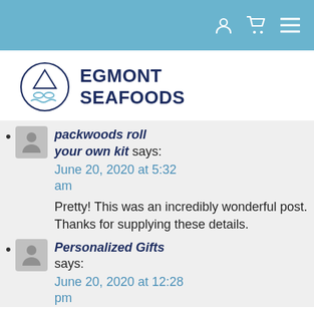[Figure (logo): Egmont Seafoods logo with circular fish emblem and bold navy text]
packwoods roll your own kit says:
June 20, 2020 at 5:32 am
Pretty! This was an incredibly wonderful post. Thanks for supplying these details.
Personalized Gifts says:
June 20, 2020 at 12:28 pm